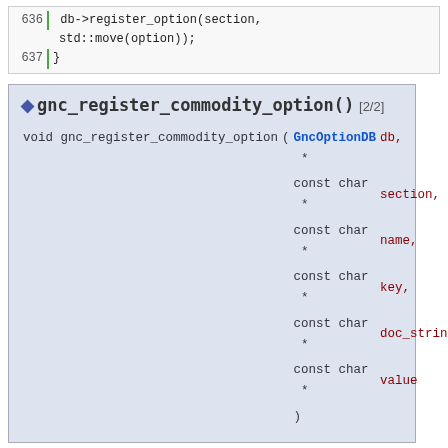[Figure (screenshot): Code snippet showing lines 636-637: db->register_option(section, std::move(option)); and closing brace]
gnc_register_commodity_option() [2/2]
void gnc_register_commodity_option ( GncOptionDB * db, const char * section, const char * name, const char * key, const char * doc_string, const char * value )
As above but with a const char* value, which should be the symbol fo
All security editor namespaces will be searched to retrieve it.
Definition at line 640 of file gnc-optiondb.cpp.
[Figure (screenshot): Code snippet showing line 643 opening brace]